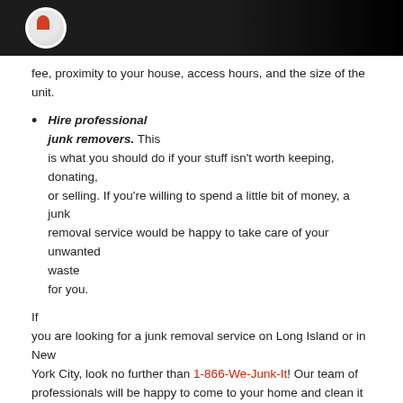[Logo header bar]
fee, proximity to your house, access hours, and the size of the unit.
Hire professional junk removers. This is what you should do if your stuff isn't worth keeping, donating, or selling. If you're willing to spend a little bit of money, a junk removal service would be happy to take care of your unwanted waste for you.
If you are looking for a junk removal service on Long Island or in New York City, look no further than 1-866-We-Junk-It! Our team of professionals will be happy to come to your home and clean it out for you – the only time you will have to lift a finger is when you call us at 718-691-8220.
Category: Uncategorized